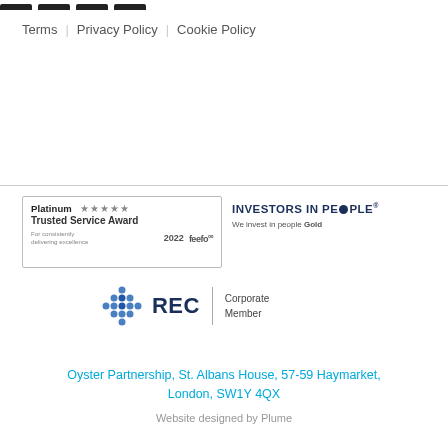Terms   Privacy Policy   Cookie Policy
[Figure (logo): Feefo Platinum Trusted Service Award 2022 badge with 5 stars]
[Figure (logo): Investors in People Gold badge]
[Figure (logo): REC Corporate Member badge with blue dotted cross logo]
Oyster Partnership, St. Albans House, 57-59 Haymarket, London, SW1Y 4QX
Website designed by Plume